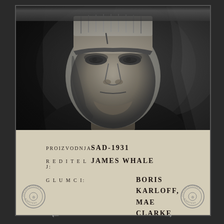[Figure (photo): Black and white photograph of Boris Karloff as Frankenstein's monster, showing his face and upper body with characteristic flat-top head, bolts at neck, heavy brow, and dark costume. The image is a vintage movie poster photo.]
PROIZVODNJA: SAD-1931
REDITELJ: JAMES WHALE
GLUMCI: BORIS KARLOFF, MAE CLARKE
[Figure (logo): Yugoslavenska Kinoteka circular stamp/seal, appears twice (left and right) on the lower text section of the poster]